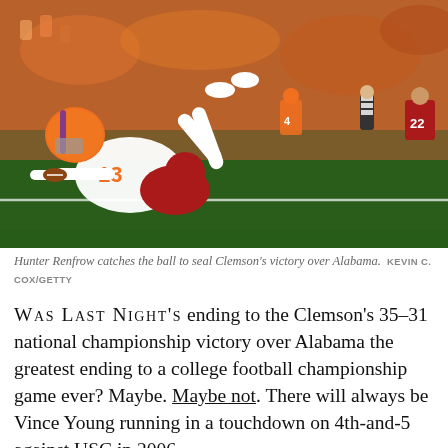[Figure (photo): Hunter Renfrow (#13, Clemson) catching a football while being tackled, diving into the end zone. Players in orange and white Clemson jerseys and red Alabama jerseys visible. Crowd in background.]
Hunter Renfrow catches the ball to seal Clemson's victory over Alabama. KEVIN C. COX/GETTY
WAS LAST NIGHT'S ending to the Clemson's 35–31 national championship victory over Alabama the greatest ending to a college football championship game ever? Maybe. Maybe not. There will always be Vince Young running in a touchdown on 4th-and-5 against USC in 2006